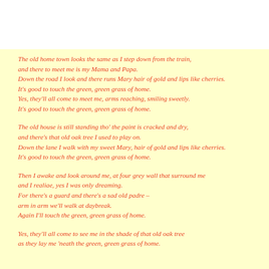The old home town looks the same as I step down from the train,
and there to meet me is my Mama and Papa.
Down the road I look and there runs Mary hair of gold and lips like cherries.
It's good to touch the green, green grass of home.
Yes, they'll all come to meet me, arms reaching, smiling sweetly.
It's good to touch the green, green grass of home.
The old house is still standing tho' the paint is cracked and dry,
and there's that old oak tree I used to play on.
Down the lane I walk with my sweet Mary, hair of gold and lips like cherries.
It's good to touch the green, green grass of home.
Then I awake and look around me, at four grey wall that surround me
and I realiae, yes I was only dreaming.
For there's a guard and there's a sad old padre –
arm in arm we'll walk at daybreak.
Again I'll touch the green, green grass of home.
Yes, they'll all come to see me in the shade of that old oak tree
as they lay me 'neath the green, green grass of home.